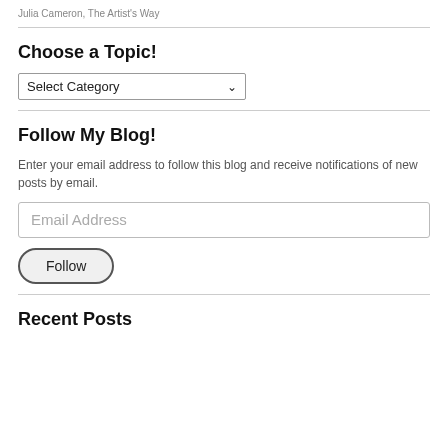Julia Cameron, The Artist's Way
Choose a Topic!
[Figure (other): Dropdown select box with label 'Select Category']
Follow My Blog!
Enter your email address to follow this blog and receive notifications of new posts by email.
[Figure (other): Email address input field with placeholder text 'Email Address']
[Figure (other): Follow button with rounded pill shape]
Recent Posts